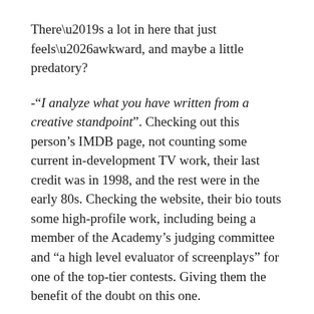There’s a lot in here that just feels…awkward, and maybe a little predatory?
-“I analyze what you have written from a creative standpoint”. Checking out this person’s IMDB page, not counting some current in-development TV work, their last credit was in 1998, and the rest were in the early 80s. Checking the website, their bio touts some high-profile work, including being a member of the Academy’s judging committee and “a high level evaluator of screenplays” for one of the top-tier contests. Giving them the benefit of the doubt on this one.
-“and if I feel its quality and potential are apparent to them”. With opinion, they to priate being